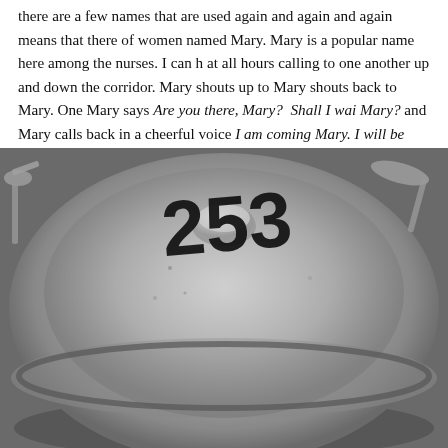there are a few names that are used again and again and again means that there of women named Mary. Mary is a popular name here among the nurses. I can h at all hours calling to one another up and down the corridor. Mary shouts up to Mary shouts back to Mary. One Mary says Are you there, Mary? Shall I wai Mary? and Mary calls back in a cheerful voice I am coming Mary. I will be shortly, Mary. The patients are Mary and the nurses are Mary.
[Figure (photo): A close-up photograph of a round metal (stainless steel/aluminium) plate cover or cloche with the number '253' handwritten in large black marker on top. Cutlery (spoons) are visible at the edges.]